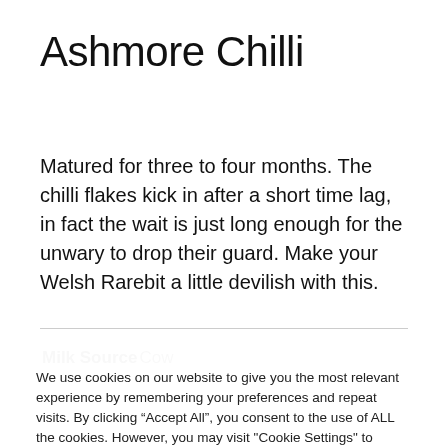Ashmore Chilli
Matured for three to four months. The chilli flakes kick in after a short time lag, in fact the wait is just long enough for the unwary to drop their guard. Make your Welsh Rarebit a little devilish with this.
| Milk Source | Cow |
We use cookies on our website to give you the most relevant experience by remembering your preferences and repeat visits. By clicking “Accept All”, you consent to the use of ALL the cookies. However, you may visit "Cookie Settings" to provide a controlled consent.